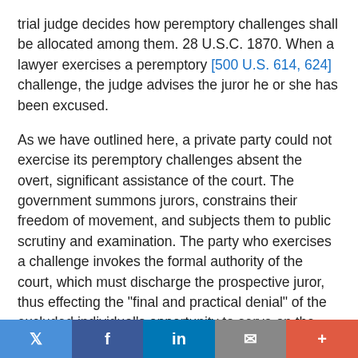trial judge decides how peremptory challenges shall be allocated among them. 28 U.S.C. 1870. When a lawyer exercises a peremptory [500 U.S. 614, 624] challenge, the judge advises the juror he or she has been excused.
As we have outlined here, a private party could not exercise its peremptory challenges absent the overt, significant assistance of the court. The government summons jurors, constrains their freedom of movement, and subjects them to public scrutiny and examination. The party who exercises a challenge invokes the formal authority of the court, which must discharge the prospective juror, thus effecting the "final and practical denial" of the excluded individual's opportunity to serve on the petit jury. Virginia v. Rives, 100 U.S. 313, 322 (1880). Without the direct and indispensable participation of the judge, who beyond all question is a state actor, the peremptory challenge system would serve no purpose. By